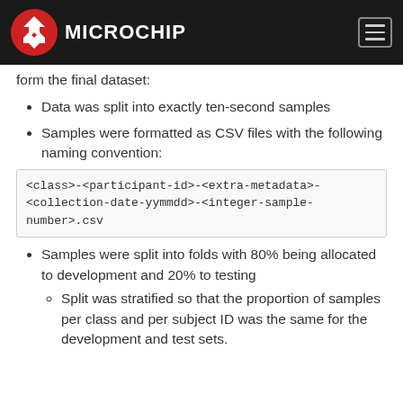Microchip
form the final dataset:
Data was split into exactly ten-second samples
Samples were formatted as CSV files with the following naming convention:
Samples were split into folds with 80% being allocated to development and 20% to testing
Split was stratified so that the proportion of samples per class and per subject ID was the same for the development and test sets.